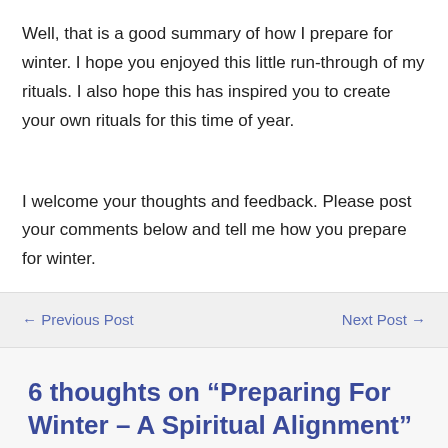Well, that is a good summary of how I prepare for winter. I hope you enjoyed this little run-through of my rituals. I also hope this has inspired you to create your own rituals for this time of year.
I welcome your thoughts and feedback. Please post your comments below and tell me how you prepare for winter.
← Previous Post
Next Post →
6 thoughts on “Preparing For Winter – A Spiritual Alignment”